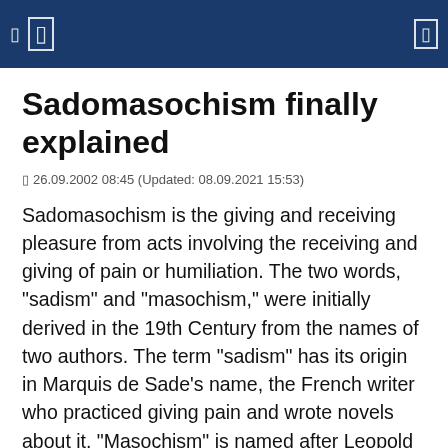Sadomasochism finally explained
26.09.2002 08:45 (Updated: 08.09.2021 15:53)
Sadomasochism is the giving and receiving pleasure from acts involving the receiving and giving of pain or humiliation. The two words, "sadism" and "masochism," were initially derived in the 19th Century from the names of two authors. The term "sadism" has its origin in Marquis de Sade's name, the French writer who practiced giving pain and wrote novels about it. "Masochism" is named after Leopold von Sacher-Masoch, the Austrian writer who wrote novels expressing his fantasies in receiving pain.